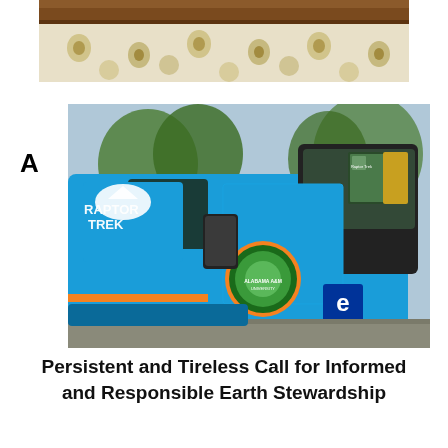[Figure (photo): Partial view of a dark wood frame and floral wallpaper pattern, cropped at the top of the page.]
[Figure (photo): A blue van with 'Raptor Trek' branding and Alabama A&M University school logo, with books visible in the windshield. Letter A labels this figure.]
Persistent and Tireless Call for Informed and Responsible Earth Stewardship